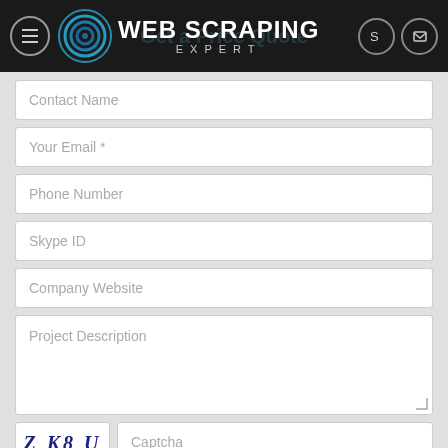WEB SCRAPING EXPERT
Contact Name
Your Email *
Phone Number
Skype ID
Company Website
Project Description
ZK8U  Captcha
CONTACT US TODAY